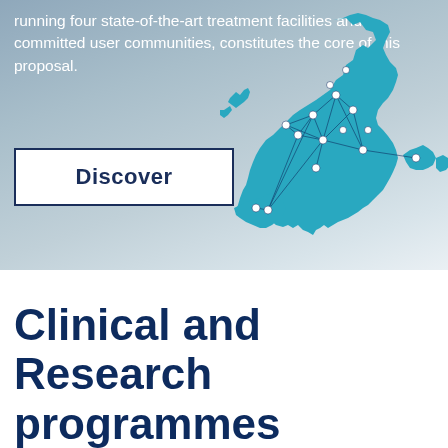running four state-of-the-art treatment facilities and committed user communities, constitutes the core of this proposal.
[Figure (map): Map of Europe shown in teal/cyan color with white dots at node locations connected by lines forming a network across European countries]
Discover
Clinical and Research programmes